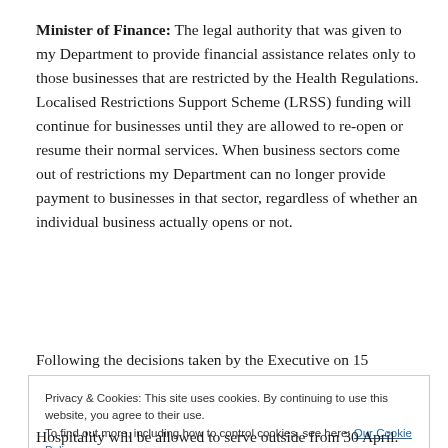Minister of Finance: The legal authority that was given to my Department to provide financial assistance relates only to those businesses that are restricted by the Health Regulations. Localised Restrictions Support Scheme (LRSS) funding will continue for businesses until they are allowed to re-open or resume their normal services. When business sectors come out of restrictions my Department can no longer provide payment to businesses in that sector, regardless of whether an individual business actually opens or not.
Following the decisions taken by the Executive on 15
Privacy & Cookies: This site uses cookies. By continuing to use this website, you agree to their use. To find out more, including how to control cookies, see here: Our Cookie Policy
Hospitality will be allowed to serve outside from 30 April.